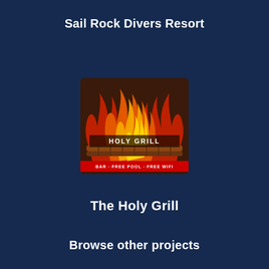Sail Rock Divers Resort
[Figure (logo): The Holy Grill restaurant logo featuring large colorful flames (red, orange, yellow) rising above a wooden log structure with the text 'HOLY GRILL' and 'BAR - FREE POOL - FREE WIFI' on a dark brown/maroon background]
The Holy Grill
Browse other projects